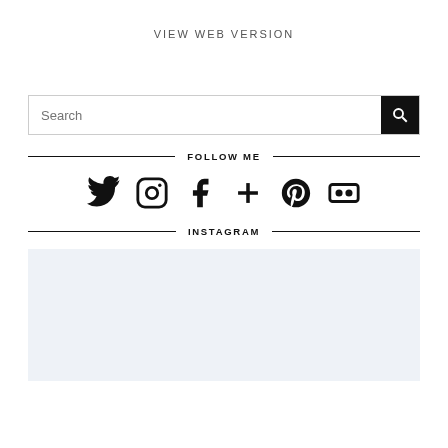VIEW WEB VERSION
[Figure (other): Search input box with magnifying glass icon button]
FOLLOW ME
[Figure (other): Social media icons: Twitter, Instagram, Facebook, Google Plus, Pinterest, Flickr]
INSTAGRAM
[Figure (other): Instagram feed placeholder area with light blue-grey background]